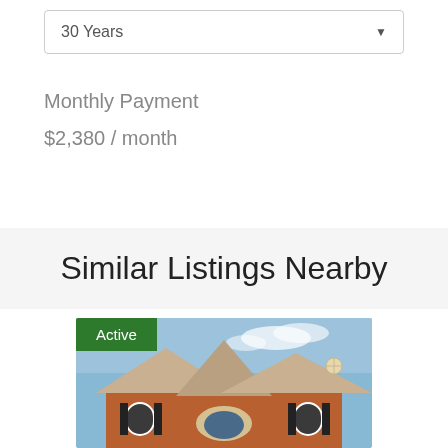30 Years
Monthly Payment
$2,380 / month
Similar Listings Nearby
[Figure (photo): Exterior photo of a brick suburban house with peaked roofline, arched windows, and shutters under a partly cloudy sky. An 'Active' badge appears in the upper left corner.]